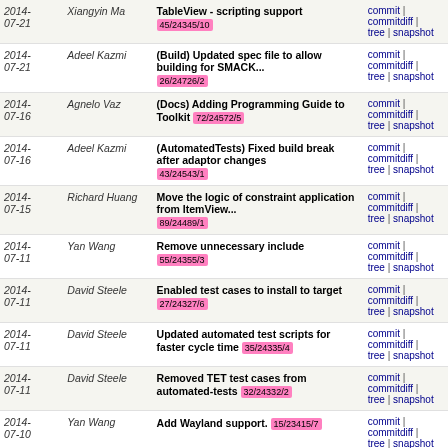| Date | Author | Message | Links |
| --- | --- | --- | --- |
| 2014-07-21 | Xiangyin Ma | TableView - scripting support  45/24345/10 | commit | commitdiff | tree | snapshot |
| 2014-07-21 | Adeel Kazmi | (Build) Updated spec file to allow building for SMACK...  26/24726/2 | commit | commitdiff | tree | snapshot |
| 2014-07-16 | Agnelo Vaz | (Docs) Adding Programming Guide to Toolkit  72/24572/5 | commit | commitdiff | tree | snapshot |
| 2014-07-16 | Adeel Kazmi | (AutomatedTests) Fixed build break after adaptor changes  43/24543/1 | commit | commitdiff | tree | snapshot |
| 2014-07-15 | Richard Huang | Move the logic of constraint application from ItemView...  89/24489/1 | commit | commitdiff | tree | snapshot |
| 2014-07-11 | Yan Wang | Remove unnecessary include  55/24355/3 | commit | commitdiff | tree | snapshot |
| 2014-07-11 | David Steele | Enabled test cases to install to target  27/24327/6 | commit | commitdiff | tree | snapshot |
| 2014-07-11 | David Steele | Updated automated test scripts for faster cycle time  35/24335/4 | commit | commitdiff | tree | snapshot |
| 2014-07-11 | David Steele | Removed TET test cases from automated-tests  32/24332/2 | commit | commitdiff | tree | snapshot |
| 2014-07-10 | Yan Wang | Add Wayland support.  15/23415/7 | commit | commitdiff | tree | snapshot |
| 2014-07-10 | Julien Heanley | ScrollView test cases - Fixed broken test cases  08/24308/2 | commit | commitdiff | tree | snapshot |
| 2014-07-09 | Adeel Kazmi | DALi Version 1.0.0  86/24286/1  dali_1.0.0 | commit | commitdiff | tree | snapshot |